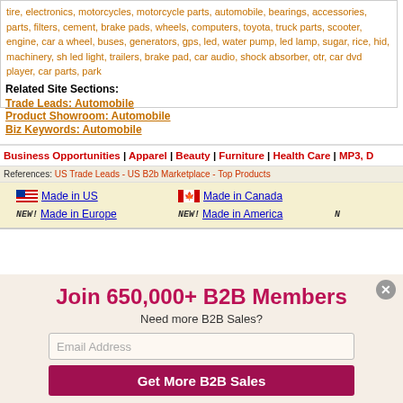tire, electronics, motorcycles, motorcycle parts, automobile, bearings, accessories, parts, filters, cement, brake pads, wheels, computers, toyota, truck parts, scooter, engine, car a wheel, buses, generators, gps, led, water pump, led lamp, sugar, rice, hid, machinery, sh led light, trailers, brake pad, car audio, shock absorber, otr, car dvd player, car parts, park
Related Site Sections:
Trade Leads: Automobile
Product Showroom: Automobile
Biz Keywords: Automobile
Business Opportunities | Apparel | Beauty | Furniture | Health Care | MP3, D
References: US Trade Leads - US B2b Marketplace - Top Products
Made in US    Made in Canada
NEW! Made in Europe    NEW! Made in America    N
Join 650,000+ B2B Members
Need more B2B Sales?
Email Address
Get More B2B Sales